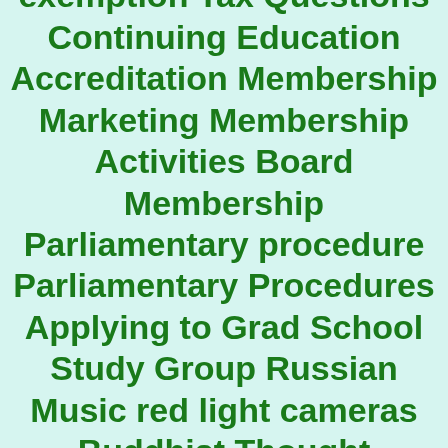Nonprofit 501 (c) (3) tax exemption Tax Questions Continuing Education Accreditation Membership Marketing Membership Activities Board Membership Parliamentary procedure Parliamentary Procedures Applying to Grad School Study Group Russian Music red light cameras Buddhist Thought Russians Study Japanese